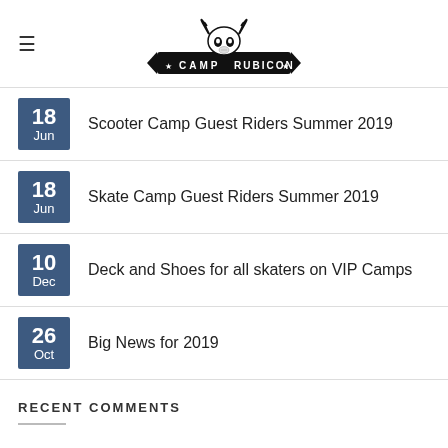Camp Rubicon (logo)
18 Jun — Scooter Camp Guest Riders Summer 2019
18 Jun — Skate Camp Guest Riders Summer 2019
10 Dec — Deck and Shoes for all skaters on VIP Camps
26 Oct — Big News for 2019
RECENT COMMENTS
Eryn on Girls Skate Camp 2018
Eva @ Urban Wheelz on Felix Percival and Wilson Ronaldo